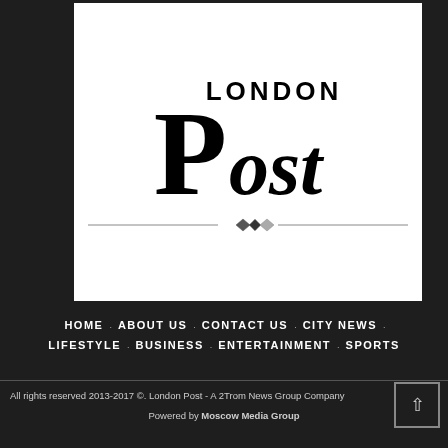[Figure (logo): London Post newspaper logo: large black 'P' with 'LONDON' above and 'ost' beside in serif font, on white background with decorative diamond divider]
HOME . ABOUT US . CONTACT US . CITY NEWS . LIFESTYLE . BUSINESS . ENTERTAINMENT . SPORTS
All rights reserved 2013-2017 ©. London Post - A 2Trom News Group Company
Powered by Moscow Media Group